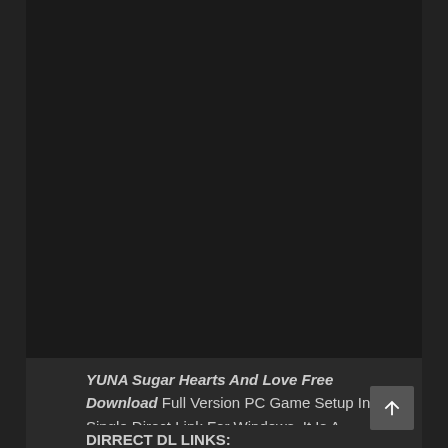[Figure (other): Large dark/black rectangular area occupying the upper portion of the page, likely a video embed or image placeholder.]
YUNA Sugar Hearts And Love Free Download Full Version PC Game Setup In Single Direct Link For Windows. It Is A Best Indie Base Adventure Game.
DIRRECT DL LINKS: